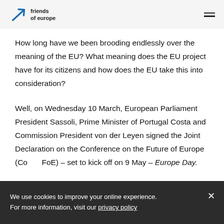friends of europe
How long have we been brooding endlessly over the meaning of the EU? What meaning does the EU project have for its citizens and how does the EU take this into consideration?
Well, on Wednesday 10 March, European Parliament President Sassoli, Prime Minister of Portugal Costa and Commission President von der Leyen signed the Joint Declaration on the Conference on the Future of Europe (CoFoE) – set to kick off on 9 May – Europe Day.
While the timing and emotional intelligence of the
We use cookies to improve your online experience. For more information, visit our privacy policy